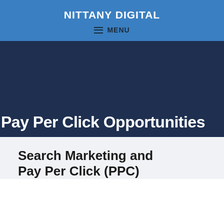NITTANY DIGITAL
MENU
Pay Per Click Opportunities
Search Marketing and Pay Per Click (PPC)